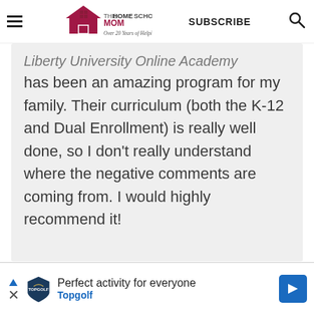THE HOMESCHOOL MOM — Over 20 Years of Helping Homeschoolers! | SUBSCRIBE | Search
Liberty University Online Academy has been an amazing program for my family. Their curriculum (both the K-12 and Dual Enrollment) is really well done, so I don't really understand where the negative comments are coming from. I would highly recommend it!
[Figure (infographic): Advertisement banner for Topgolf: 'Perfect activity for everyone' with Topgolf logo and blue arrow icon]